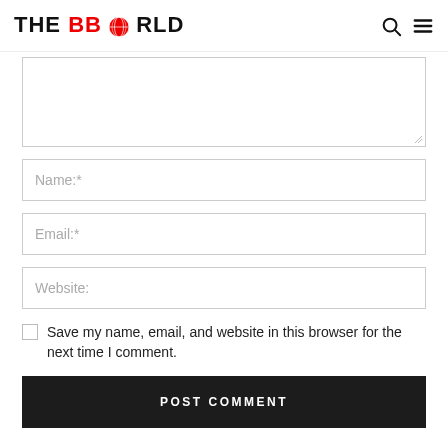THE BBC WORLD
[Figure (other): Comment form textarea (empty), text input for Name:*, text input for Email:*, text input for Website:, checkbox with label 'Save my name, email, and website in this browser for the next time I comment.', and POST COMMENT button]